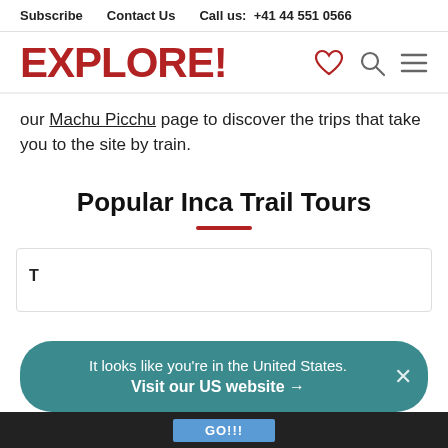Subscribe   Contact Us   Call us: +41 44 551 0566
EXPLORE!
our Machu Picchu page to discover the trips that take you to the site by train.
Popular Inca Trail Tours
T
It looks like you're in the United States. Visit our US website →